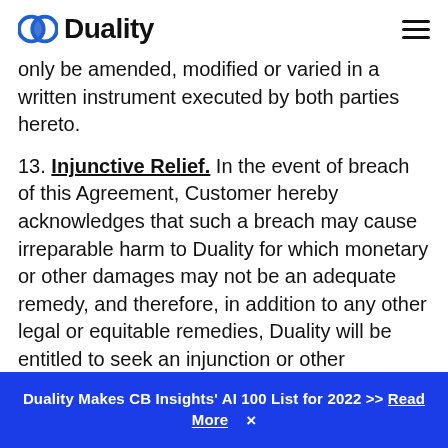Duality
only be amended, modified or varied in a written instrument executed by both parties hereto.
13. Injunctive Relief. In the event of breach of this Agreement, Customer hereby acknowledges that such a breach may cause irreparable harm to Duality for which monetary or other damages may not be an adequate remedy, and therefore, in addition to any other legal or equitable remedies, Duality will be entitled to seek an injunction or other equitable remedy against such breach.
14. Assignment. Customer may not assign its
Duality Makes CB Insights' AI 100 List for 2022 >> Read More ×